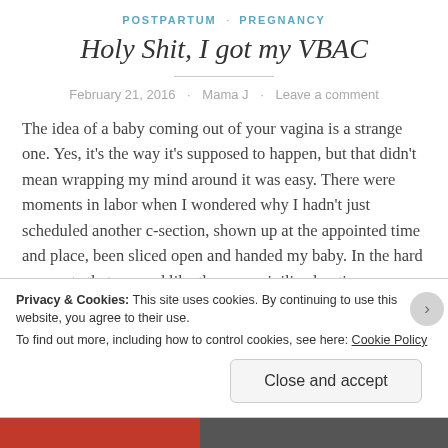POSTPARTUM · PREGNANCY
Holy Shit, I got my VBAC
February 21, 2016 · Mama J · Leave a comment
The idea of a baby coming out of your vagina is a strange one. Yes, it's the way it's supposed to happen, but that didn't mean wrapping my mind around it was easy. There were moments in labor when I wondered why I hadn't just scheduled another c-section, shown up at the appointed time and place, been sliced open and handed my baby. In the hard moments that seemed like the more civilized option.
Privacy & Cookies: This site uses cookies. By continuing to use this website, you agree to their use.
To find out more, including how to control cookies, see here: Cookie Policy
Close and accept